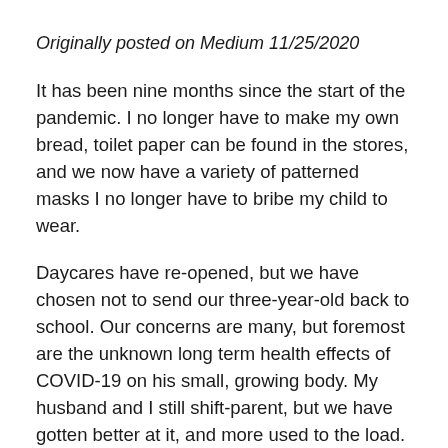Originally posted on Medium 11/25/2020
It has been nine months since the start of the pandemic. I no longer have to make my own bread, toilet paper can be found in the stores, and we now have a variety of patterned masks I no longer have to bribe my child to wear.
Daycares have re-opened, but we have chosen not to send our three-year-old back to school. Our concerns are many, but foremost are the unknown long term health effects of COVID-19 on his small, growing body. My husband and I still shift-parent, but we have gotten better at it, and more used to the load. I still start work at 7am, and work until naptime, when I take a few precious minutes to snuggle my kid to sleep. My husband starts his